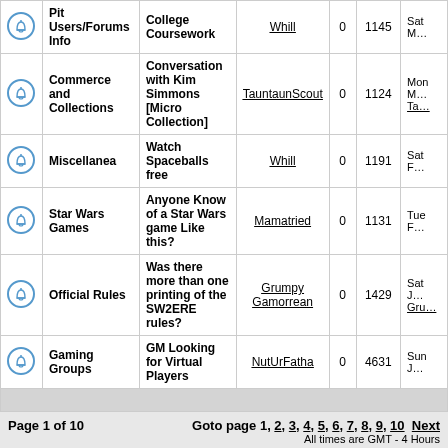|  | Forum | Topic | Last Post By | Replies | Views | Last Post |
| --- | --- | --- | --- | --- | --- | --- |
| [icon] | Pit Users/Forums Info | College Coursework | Whill | 0 | 1145 | Sat M... |
| [icon] | Commerce and Collections | Conversation with Kim Simmons [Micro Collection] | TauntaunScout | 0 | 1124 | Mon M... Ta... |
| [icon] | Miscellanea | Watch Spaceballs free | Whill | 0 | 1191 | Sat F... |
| [icon] | Star Wars Games | Anyone Know of a Star Wars game Like this? | Mamatried | 0 | 1131 | Tue F... |
| [icon] | Official Rules | Was there more than one printing of the SW2ERE rules? | Grumpy Gamorrean | 0 | 1429 | Sat J... Gru... |
| [icon] | Gaming Groups | GM Looking for Virtual Players | NutUrFatha | 0 | 4631 | Sun J... |
Page 1 of 10
Goto page 1, 2, 3, 4, 5, 6, 7, 8, 9, 10 Next
All times are GMT - 4 Hours
Jump to: Select a forum Go
Powered by phpBB © 2001, 2005 phpBB Group
v2.0